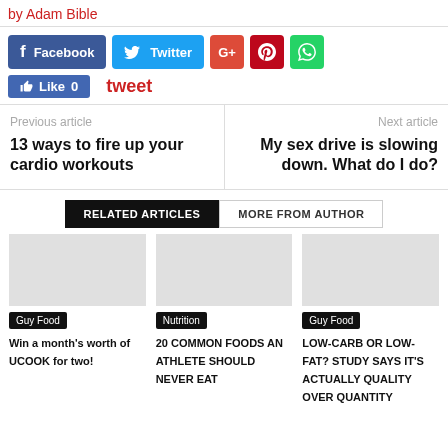by Adam Bible
[Figure (other): Social share buttons: Facebook, Twitter, Google+, Pinterest, WhatsApp]
Like 0    tweet
Previous article
13 ways to fire up your cardio workouts
Next article
My sex drive is slowing down. What do I do?
RELATED ARTICLES    MORE FROM AUTHOR
[Figure (other): Article thumbnail placeholder for Win a month's worth of UCOOK for two!]
Guy Food
Win a month's worth of UCOOK for two!
[Figure (other): Article thumbnail placeholder for 20 COMMON FOODS AN ATHLETE SHOULD NEVER EAT]
Nutrition
20 COMMON FOODS AN ATHLETE SHOULD NEVER EAT
[Figure (other): Article thumbnail placeholder for LOW-CARB OR LOW-FAT? STUDY SAYS IT'S ACTUALLY QUALITY OVER QUANTITY]
Guy Food
LOW-CARB OR LOW-FAT? STUDY SAYS IT'S ACTUALLY QUALITY OVER QUANTITY